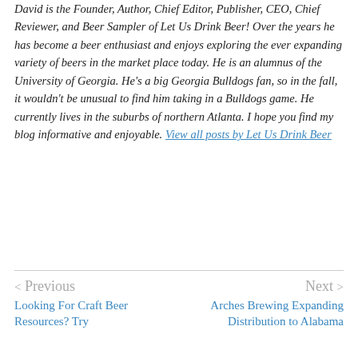David is the Founder, Author, Chief Editor, Publisher, CEO, Chief Reviewer, and Beer Sampler of Let Us Drink Beer! Over the years he has become a beer enthusiast and enjoys exploring the ever expanding variety of beers in the market place today. He is an alumnus of the University of Georgia. He's a big Georgia Bulldogs fan, so in the fall, it wouldn't be unusual to find him taking in a Bulldogs game. He currently lives in the suburbs of northern Atlanta. I hope you find my blog informative and enjoyable. View all posts by Let Us Drink Beer
< Previous
Looking For Craft Beer Resources? Try
Next >
Arches Brewing Expanding Distribution to Alabama